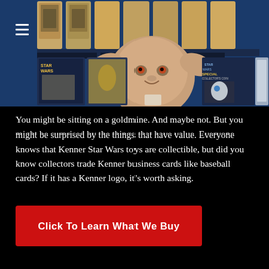[Figure (photo): Photo of vintage Kenner Star Wars action figures in their original packaging, displayed on a blue background. A Yoda figure head is prominent in the center. Various carded figures including R2-D2, Stormtrooper, and others are visible. A hamburger menu icon is in the top left corner.]
You might be sitting on a goldmine.  And maybe not.  But you might be surprised by the things that have value.  Everyone knows that Kenner Star Wars toys are collectible, but did you know collectors trade Kenner business cards like baseball cards?  If it has a Kenner logo, it's worth asking.
Click To Learn What We Buy